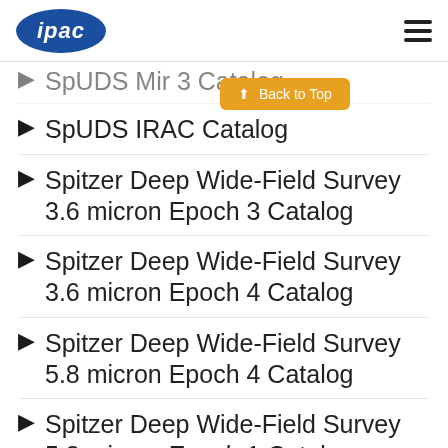ipac
SpUDS Mir 3 Catalog
SpUDS IRAC Catalog
Spitzer Deep Wide-Field Survey 3.6 micron Epoch 3 Catalog
Spitzer Deep Wide-Field Survey 3.6 micron Epoch 4 Catalog
Spitzer Deep Wide-Field Survey 5.8 micron Epoch 4 Catalog
Spitzer Deep Wide-Field Survey 5.8 micron Epoch 1 Catalog
Spitzer Deep Wide-Field Survey...